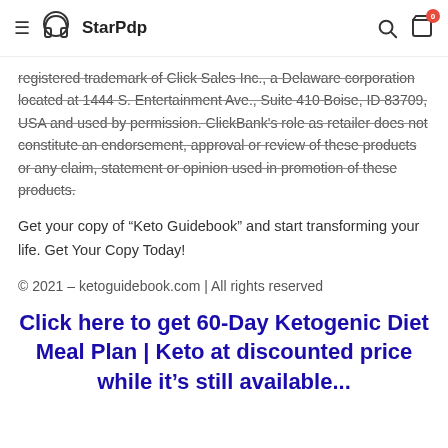StarPdp
registered trademark of Click Sales Inc., a Delaware corporation located at 1444 S. Entertainment Ave., Suite 410 Boise, ID 83709, USA and used by permission. ClickBank's role as retailer does not constitute an endorsement, approval or review of these products or any claim, statement or opinion used in promotion of these products.
Get your copy of “Keto Guidebook” and start transforming your life. Get Your Copy Today!
© 2021 – ketoguidebook.com | All rights reserved
Click here to get 60-Day Ketogenic Diet Meal Plan | Keto at discounted price while it’s still available...